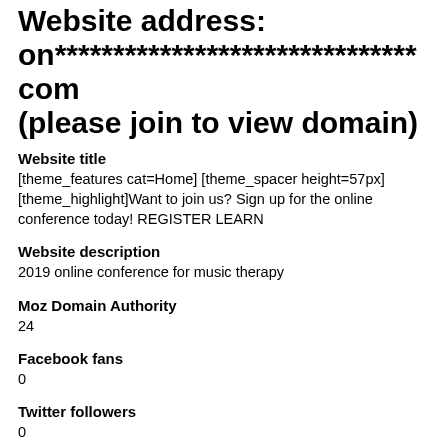Website address: on*******************************com (please join to view domain)
Website title
[theme_features cat=Home] [theme_spacer height=57px] [theme_highlight]Want to join us? Sign up for the online conference today! REGISTER  LEARN
Website description
2019 online conference for music therapy
Moz Domain Authority
24
Facebook fans
0
Twitter followers
0